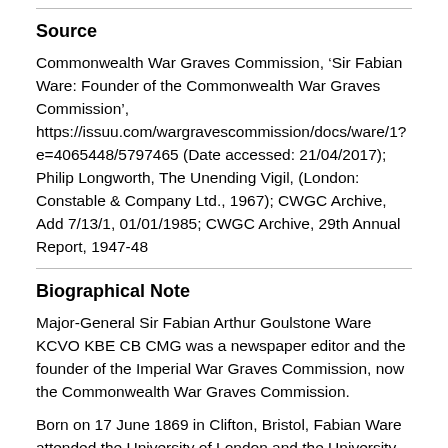Source
Commonwealth War Graves Commission, ‘Sir Fabian Ware: Founder of the Commonwealth War Graves Commission’, https://issuu.com/wargravescommission/docs/ware/1?e=4065448/5797465 (Date accessed: 21/04/2017); Philip Longworth, The Unending Vigil, (London: Constable & Company Ltd., 1967); CWGC Archive, Add 7/13/1, 01/01/1985; CWGC Archive, 29th Annual Report, 1947-48
Biographical Note
Major-General Sir Fabian Arthur Goulstone Ware KCVO KBE CB CMG was a newspaper editor and the founder of the Imperial War Graves Commission, now the Commonwealth War Graves Commission.
Born on 17 June 1869 in Clifton, Bristol, Fabian Ware attended the University of London and the University of Paris, where he